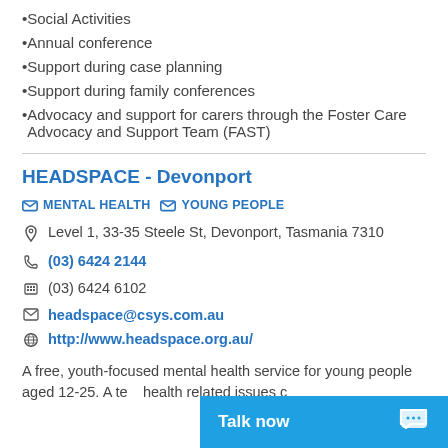Social Activities
Annual conference
Support during case planning
Support during family conferences
Advocacy and support for carers through the Foster Care Advocacy and Support Team (FAST)
HEADSPACE - Devonport
MENTAL HEALTH   YOUNG PEOPLE
Level 1, 33-35 Steele St, Devonport, Tasmania 7310
(03) 6424 2144
(03) 6424 6102
headspace@csys.com.au
http://www.headspace.org.au/
A free, youth-focused mental health service for young people aged 12-25. A te... health related issues c...